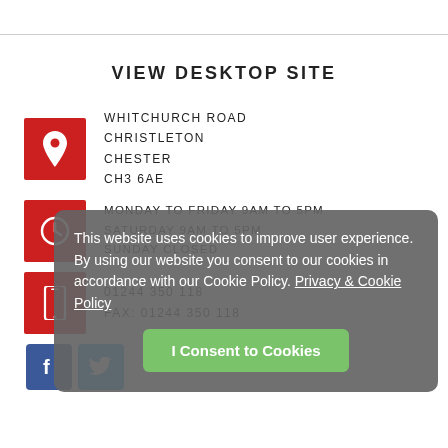VIEW DESKTOP SITE
WHITCHURCH ROAD
CHRISTLETON
CHESTER
CH3 6AE
MONDAY TO FRIDAY 9AM TO 5PM
SATURDAY 9AM TO 5PM
SUNDAY CLOSED
01244 350 118
FAX: 01244 350 118
[Figure (screenshot): Cookie consent overlay: text about cookies policy with a green 'I Consent to Cookies' button]
Social media icons: Facebook and Twitter